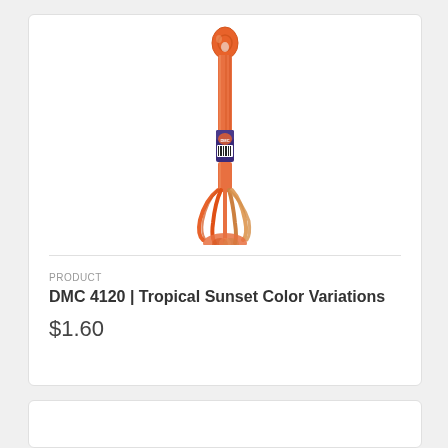[Figure (photo): DMC embroidery floss skein in orange/red tropical sunset color variations with label and barcode]
PRODUCT
DMC 4120 | Tropical Sunset Color Variations
$1.60